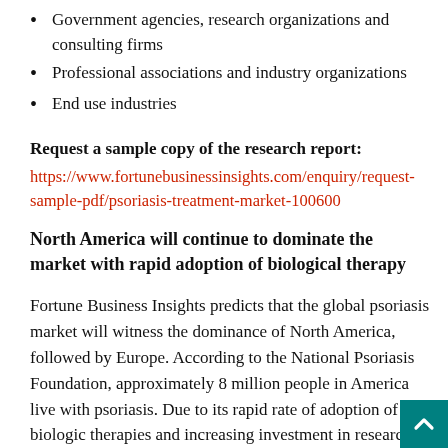Government agencies, research organizations and consulting firms
Professional associations and industry organizations
End use industries
Request a sample copy of the research report: https://www.fortunebusinessinsights.com/enquiry/request-sample-pdf/psoriasis-treatment-market-100600
North America will continue to dominate the market with rapid adoption of biological therapy
Fortune Business Insights predicts that the global psoriasis market will witness the dominance of North America, followed by Europe. According to the National Psoriasis Foundation, approximately 8 million people in America live with psoriasis. Due to its rapid rate of adoption of biologic therapies and increasing investment in research and development for clinical trials, North America is also expected to continue to dominate the global psoriasis market during the period, forecast,